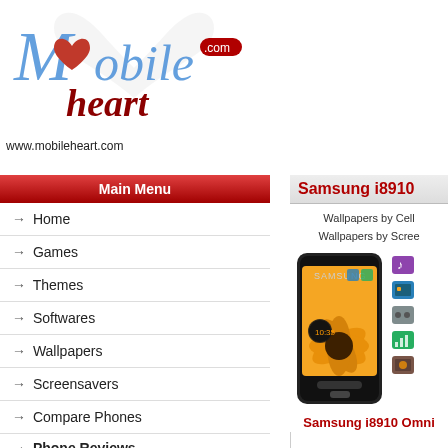[Figure (logo): Mobile Heart .com logo with red heart and stylized cursive text, watermark heart in background]
www.mobileheart.com
Main Menu
Home
Games
Themes
Softwares
Wallpapers
Screensavers
Compare Phones
Phone Reviews
Nokia
Sony Ericsson
BlackBerry
Samsung
Motorola
LG
HTC
Apple
Palm
Samsung i8910
Wallpapers by Cell
Wallpapers by Screen
[Figure (photo): Samsung i8910 Omnia HD smartphone with sunflower wallpaper on screen, black device]
[Figure (screenshot): Category icon thumbnails: music, wallpaper, games, ringtones, screensavers]
Samsung i8910 Omni